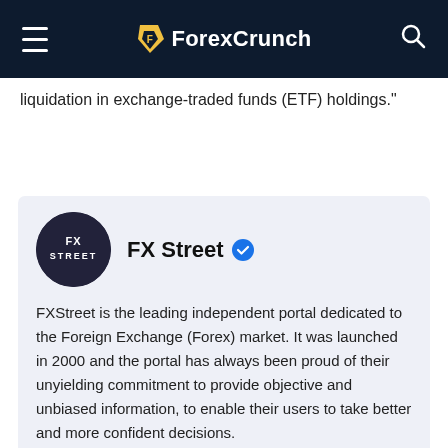ForexCrunch
liquidation in exchange-traded funds (ETF) holdings."
[Figure (logo): FX Street logo — dark circular badge with FXSTREET text]
FX Street
FXStreet is the leading independent portal dedicated to the Foreign Exchange (Forex) market. It was launched in 2000 and the portal has always been proud of their unyielding commitment to provide objective and unbiased information, to enable their users to take better and more confident decisions.
View All Post By FX Street